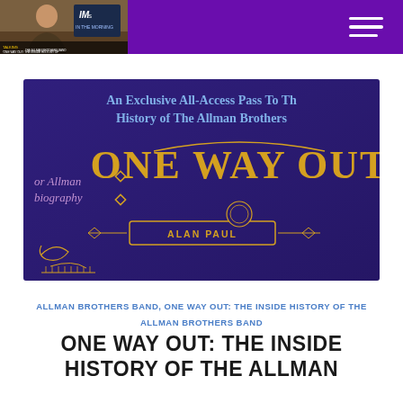Header with TV show photo and hamburger menu
[Figure (photo): Promotional banner image for 'One Way Out' book by Alan Paul — dark blue/purple background with gold decorative lettering reading 'ONE WAY OUT' and 'ALAN PAUL', with headline text 'An Exclusive All-Access Pass To The History of The Allman Brothers' and side text 'or Allman biography']
ALLMAN BROTHERS BAND, ONE WAY OUT: THE INSIDE HISTORY OF THE ALLMAN BROTHERS BAND
ONE WAY OUT: THE INSIDE HISTORY OF THE ALLMAN